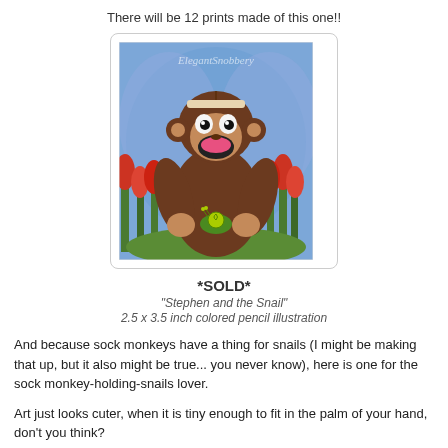There will be 12 prints made of this one!!
[Figure (illustration): Colored pencil illustration of a sock monkey named Stephen holding a snail, with flowers in the background and 'ElegantSnobbery' watermark]
*SOLD*
"Stephen and the Snail"
2.5 x 3.5 inch colored pencil illustration
And because sock monkeys have a thing for snails (I might be making that up, but it also might be true... you never know), here is one for the sock monkey-holding-snails lover.
Art just looks cuter, when it is tiny enough to fit in the palm of your hand, don't you think?